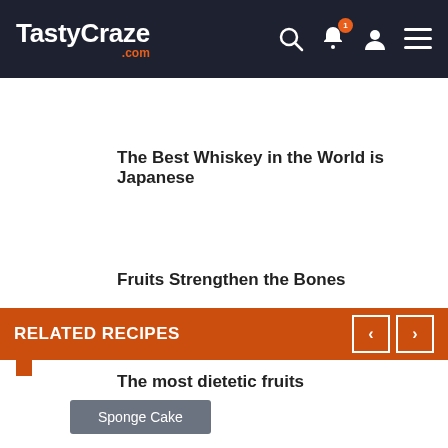TastyCraze.com
The Best Whiskey in the World is Japanese
Fruits Strengthen the Bones
The most dietetic fruits
RELATED RECIPES
Sponge Cake